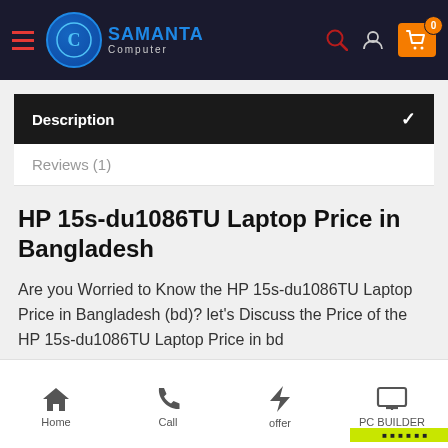[Figure (screenshot): Samanta Computer website navigation bar with hamburger menu, logo (C SAMANTA Computer), search icon, user icon, and shopping cart icon with badge showing 0]
Description
Reviews (1)
HP 15s-du1086TU Laptop Price in Bangladesh
Are you Worried to Know the HP 15s-du1086TU Laptop Price in Bangladesh (bd)? let's Discuss the Price of the HP 15s-du1086TU Laptop Price in bd
Home  Call  offer  PC BUILDER